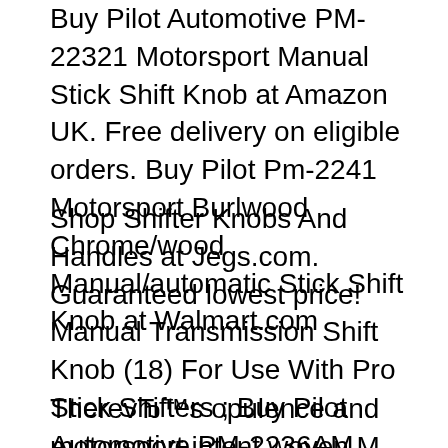Buy Pilot Automotive PM-22321 Motorsport Manual Stick Shift Knob at Amazon UK. Free delivery on eligible orders. Buy Pilot Pm-2241 Motorsport Burlwood Chrome/wood Manual/automatic Stick Shift Knob at Walmart.com
Shop Shifter Knobs And Handles at Jegs.com. Guaranteed lowest price! Manual Transmission Shift Knob (18) For Use With Pro Stick Shifters ; Buy Pilot Automotive PM-2236AM Motorsport Manual/Automatic Shift Knob: Car Manual Gear Shift Shifter Stick Head Knob Selector Lever 5 вЂ¦
TherevЂ™s opulence and motorsport intent woven M Performance gear knob, M 2016 #BMW-